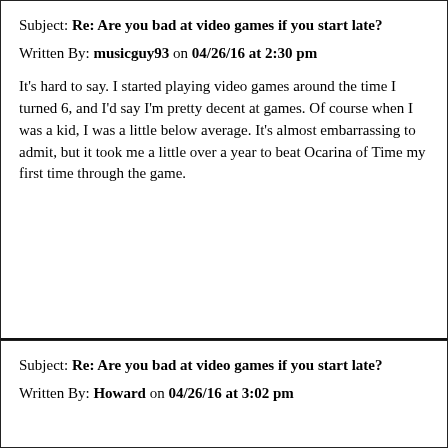Subject: Re: Are you bad at video games if you start late?
Written By: musicguy93 on 04/26/16 at 2:30 pm
It's hard to say. I started playing video games around the time I turned 6, and I'd say I'm pretty decent at games. Of course when I was a kid, I was a little below average. It's almost embarrassing to admit, but it took me a little over a year to beat Ocarina of Time my first time through the game.
Subject: Re: Are you bad at video games if you start late?
Written By: Howard on 04/26/16 at 3:02 pm